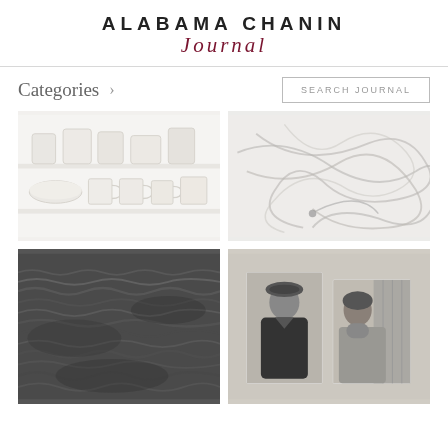[Figure (logo): Alabama Chanin Journal logo with serif caps title and cursive script subtitle in dark red/maroon]
Categories >
SEARCH JOURNAL
[Figure (photo): White ceramic pottery, mugs, bowls and jars arranged on white shelves, soft focus, minimal aesthetic]
[Figure (photo): Tangled thin wires or cords on a white background, abstract, high key]
[Figure (photo): Black and white photo of dark choppy ocean waves]
[Figure (photo): Two black and white portrait photographs displayed side by side showing a person in a beret and coat, and a woman in a turtleneck sweater]